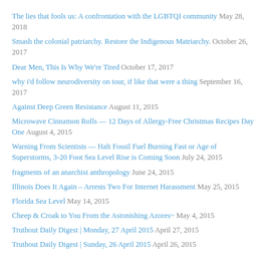The lies that fools us: A confrontation with the LGBTQI community May 28, 2018
Smash the colonial patriarchy. Restore the Indigenous Matriarchy. October 26, 2017
Dear Men, This Is Why We're Tired October 17, 2017
why i'd follow neurodiversity on tour, if like that were a thing September 16, 2017
Against Deep Green Resistance August 11, 2015
Microwave Cinnamon Rolls — 12 Days of Allergy-Free Christmas Recipes Day One August 4, 2015
Warning From Scientists — Halt Fossil Fuel Burning Fast or Age of Superstorms, 3-20 Foot Sea Level Rise is Coming Soon July 24, 2015
fragments of an anarchist anthropology June 24, 2015
Illinois Does It Again – Arrests Two For Internet Harassment May 25, 2015
Florida Sea Level May 14, 2015
Cheep & Croak to You From the Astonishing Azores~ May 4, 2015
Truthout Daily Digest | Monday, 27 April 2015 April 27, 2015
Truthout Daily Digest | Sunday, 26 April 2015 April 26, 2015